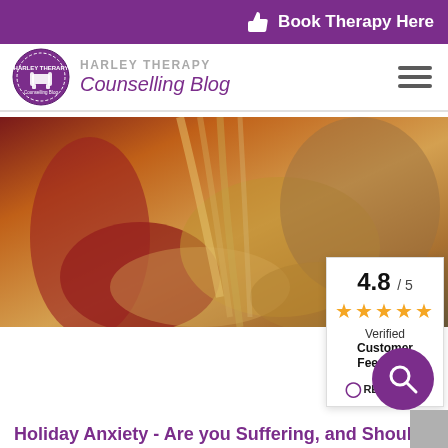Book Therapy Here
HARLEY THERAPY Counselling Blog
[Figure (photo): Close-up photo of hands, one person in red clothing, warm tones suggesting comfort or therapy setting]
4.8 / 5 ★★★★★ Verified Customer Feedback REVIEWS.io
Holiday Anxiety - Are you Suffering, and Should You Be Worried?
[Figure (photo): Bottom thumbnail image with warm brown tones]